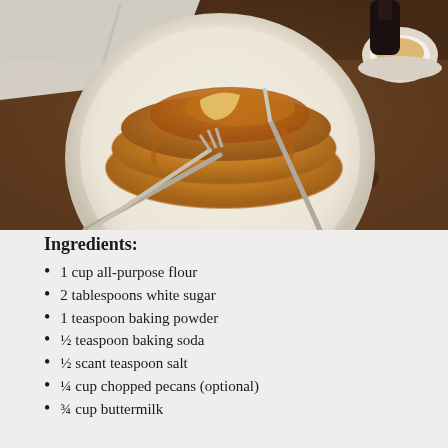[Figure (photo): A stack of pancakes covered in syrup on a white plate, with a fork inserted into them and a knife resting alongside, on a restaurant table with napkins and a cup of coffee in the background.]
Ingredients:
1 cup all-purpose flour
2 tablespoons white sugar
1 teaspoon baking powder
½ teaspoon baking soda
½ scant teaspoon salt
¼ cup chopped pecans (optional)
¾ cup buttermilk